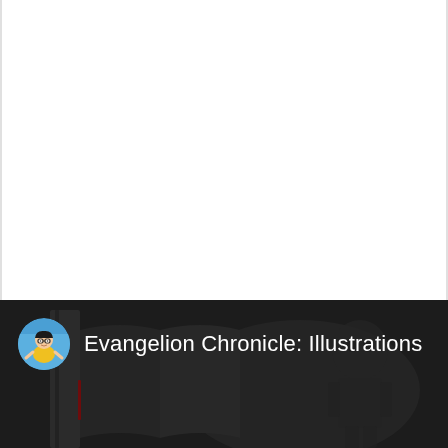[Figure (screenshot): Screenshot of a YouTube or video platform page. The upper portion is white/blank content area. The lower portion shows a dark video thumbnail panel featuring the channel 'Evangelion Chronicle: Illustrations' with a circular avatar icon of an animated character (cartoon boy with glasses) on the left, and the channel name in white text. The dark background shows a faint silhouette of what appears to be an open book and a large mecha/robot figure.]